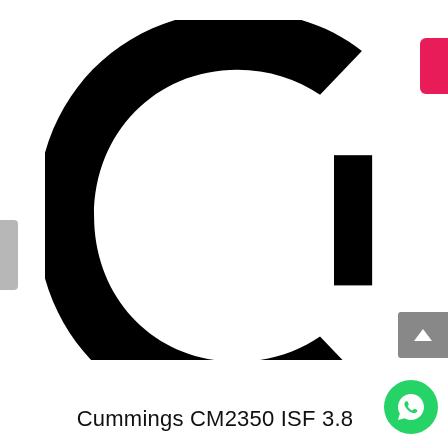[Figure (logo): Cummins engine brand logo — large black letter C shape (the Cummins 'C' logo mark) on white background]
Cummings CM2350 ISF 3.8